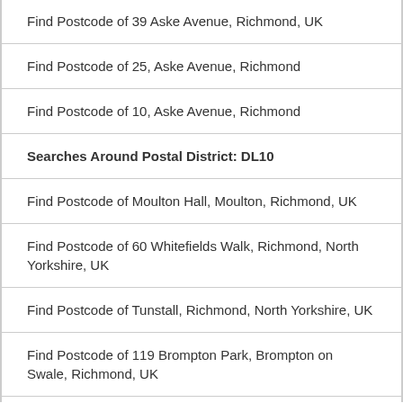Find Postcode of 39 Aske Avenue, Richmond, UK
Find Postcode of 25, Aske Avenue, Richmond
Find Postcode of 10, Aske Avenue, Richmond
Searches Around Postal District: DL10
Find Postcode of Moulton Hall, Moulton, Richmond, UK
Find Postcode of 60 Whitefields Walk, Richmond, North Yorkshire, UK
Find Postcode of Tunstall, Richmond, North Yorkshire, UK
Find Postcode of 119 Brompton Park, Brompton on Swale, Richmond, UK
Find Postcode of 4 Yarde Avenue, Catterick, Richmond, UK
Find Postcode of 35 Darlington Road, Richmond, UK